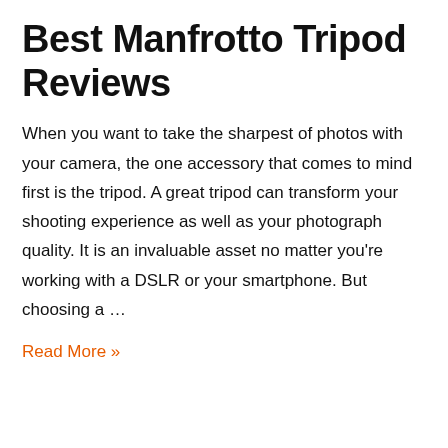Best Manfrotto Tripod Reviews
When you want to take the sharpest of photos with your camera, the one accessory that comes to mind first is the tripod. A great tripod can transform your shooting experience as well as your photograph quality. It is an invaluable asset no matter you're working with a DSLR or your smartphone. But choosing a …
Read More »